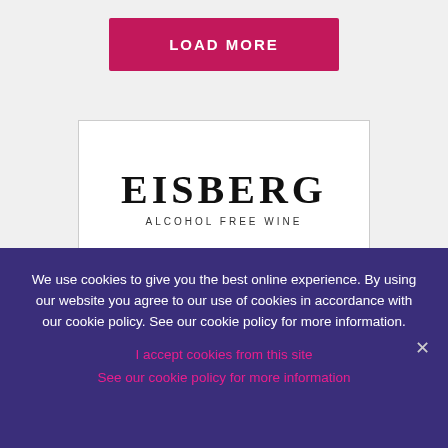[Figure (other): Pink/magenta 'LOAD MORE' button on light gray background]
[Figure (photo): Eisberg Alcohol Free Wine product label showing brand name in serif font, green section with 'UK No.1 in alcohol free' text and a circular badge showing 0.0% ABV]
We use cookies to give you the best online experience. By using our website you agree to our use of cookies in accordance with our cookie policy. See our cookie policy for more information.
I accept cookies from this site
See our cookie policy for more information